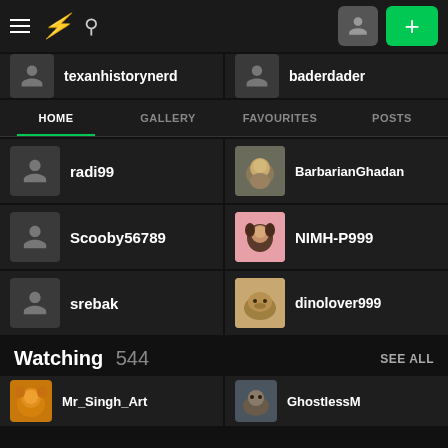DeviantArt navigation bar with hamburger menu, DA logo, search icon, profile button, and plus button
HOME | GALLERY | FAVOURITES | POSTS
texanhistorynerd
baderdader
radi99
BarbarianGhadan
Scooby56789
NIMH-P999
srebak
dinolover999
Watching 544
Mr_Singh_Art
GhostlessM